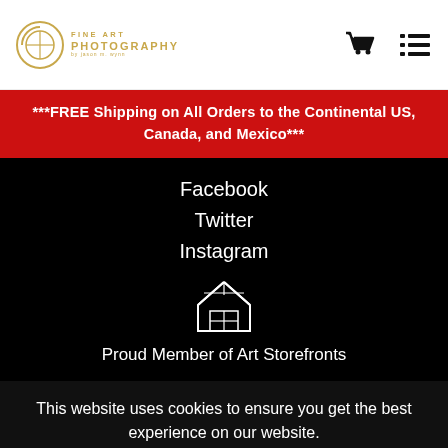Fine Art Photography — website header with logo, cart icon, and menu icon
***FREE Shipping on All Orders to the Continental US, Canada, and Mexico***
Facebook
Twitter
Instagram
[Figure (illustration): Art Storefronts house/storefront icon in white outline]
Proud Member of Art Storefronts
This website uses cookies to ensure you get the best experience on our website.
Got it!